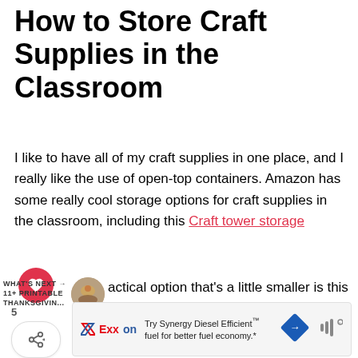How to Store Craft Supplies in the Classroom
I like to have all of my craft supplies in one place, and I really like the use of open-top containers. Amazon has some really cool storage options for craft supplies in the classroom, including this Craft tower storage
actical option that's a little smaller is this open-top cubby shelf.
[Figure (other): Social share sidebar with heart button showing 5 likes and a share icon button]
[Figure (infographic): What's Next promotional widget showing '11+ Printable Thanksgivin...' with circular thumbnail image]
[Figure (other): Exxon advertisement banner: Try Synergy Diesel Efficient fuel for better fuel economy.]